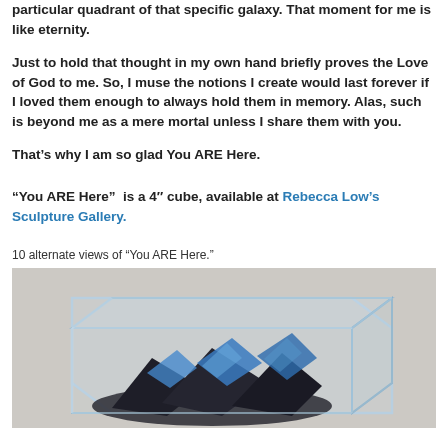particular quadrant of that specific galaxy. That moment for me is like eternity.
Just to hold that thought in my own hand briefly proves the Love of God to me. So, I muse the notions I create would last forever if I loved them enough to always hold them in memory. Alas, such is beyond me as a mere mortal unless I share them with you.
That’s why I am so glad You ARE Here.
“You ARE Here”  is a 4″ cube, available at Rebecca Low’s Sculpture Gallery.
10 alternate views of “You ARE Here.”
[Figure (photo): A clear acrylic cube containing dark metallic and blue rocky/crystalline objects, photographed against a light grey background.]